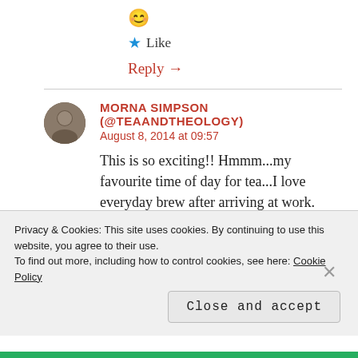[Figure (illustration): Smiley emoji face]
★ Like
Reply →
MORNA SIMPSON (@TEAANDTHEOLOGY)
August 8, 2014 at 09:57
This is so exciting!! Hmmm...my favourite time of day for tea...I love everyday brew after arriving at work. Post lunch cup of popcorn
Privacy & Cookies: This site uses cookies. By continuing to use this website, you agree to their use.
To find out more, including how to control cookies, see here: Cookie Policy
Close and accept